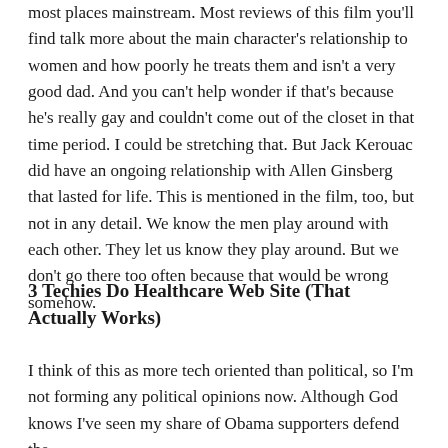most places mainstream. Most reviews of this film you'll find talk more about the main character's relationship to women and how poorly he treats them and isn't a very good dad. And you can't help wonder if that's because he's really gay and couldn't come out of the closet in that time period. I could be stretching that. But Jack Kerouac did have an ongoing relationship with Allen Ginsberg that lasted for life. This is mentioned in the film, too, but not in any detail. We know the men play around with each other. They let us know they play around. But we don't go there too often because that would be wrong somehow.
3 Techies Do Healthcare Web Site (That Actually Works)
I think of this as more tech oriented than political, so I'm not forming any political opinions now. Although God knows I've seen my share of Obama supporters defend the